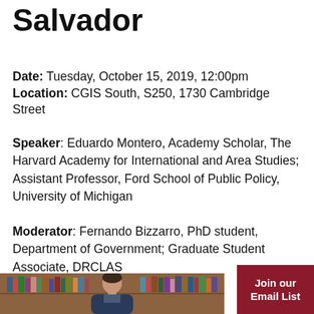Salvador
Date: Tuesday, October 15, 2019, 12:00pm
Location: CGIS South, S250, 1730 Cambridge Street
Speaker: Eduardo Montero, Academy Scholar, The Harvard Academy for International and Area Studies; Assistant Professor, Ford School of Public Policy, University of Michigan
Moderator: Fernando Bizzarro, PhD student, Department of Government; Graduate Student Associate, DRCLAS
[Figure (photo): Portrait photo of a man in front of bookshelves]
Join our Email List